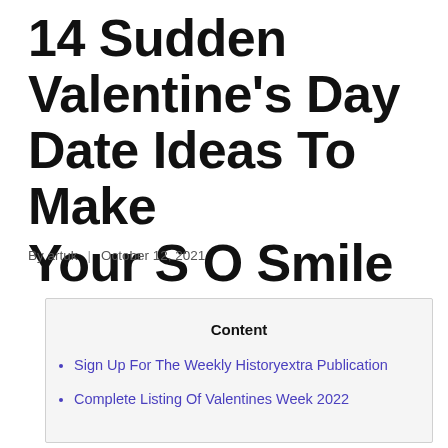14 Sudden Valentine's Day Date Ideas To Make Your S O Smile
By artuk | October 12, 2021
Content
Sign Up For The Weekly Historyextra Publication
Complete Listing Of Valentines Week 2022